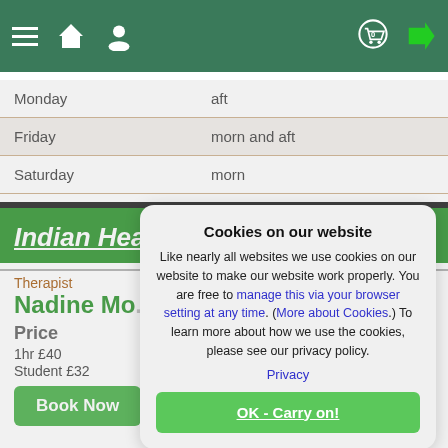[Figure (screenshot): Website navigation bar with hamburger menu, home icon, user icon on left; cart with badge '0' and arrow icon on right, on dark green background]
| Monday | aft |
| Friday | morn and aft |
| Saturday | morn |
Indian Head Massage
Therapist
Nadine Mo...
Price
1hr £40
Student £32
Book Now
| Monday |  |
| Friday |  |
Cookies on our website
Like nearly all websites we use cookies on our website to make our website work properly. You are free to manage this via your browser setting at any time. (More about Cookies.) To learn more about how we use the cookies, please see our privacy policy.
Privacy
OK - Carry on!